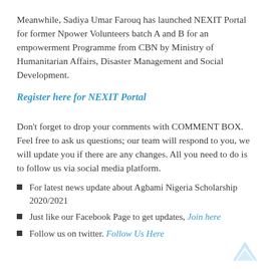Meanwhile, Sadiya Umar Farouq has launched NEXIT Portal for former Npower Volunteers batch A and B for an empowerment Programme from CBN by Ministry of Humanitarian Affairs, Disaster Management and Social Development.
Register here for NEXIT Portal
Don't forget to drop your comments with COMMENT BOX. Feel free to ask us questions; our team will respond to you, we will update you if there are any changes. All you need to do is to follow us via social media platform.
For latest news update about Agbami Nigeria Scholarship 2020/2021
Just like our Facebook Page to get updates, Join here
Follow us on twitter. Follow Us Here